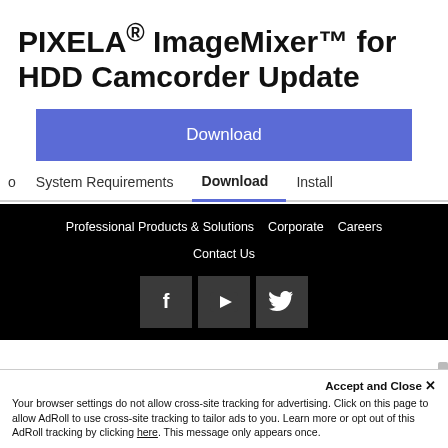PIXELA® ImageMixer™ for HDD Camcorder Update
Download
o   System Requirements   Download   Install
Professional Products & Solutions   Corporate   Careers
Contact Us
[Figure (other): Social media icons: Facebook, YouTube, Twitter on dark grey backgrounds]
Accept and Close ✕
Your browser settings do not allow cross-site tracking for advertising. Click on this page to allow AdRoll to use cross-site tracking to tailor ads to you. Learn more or opt out of this AdRoll tracking by clicking here. This message only appears once.